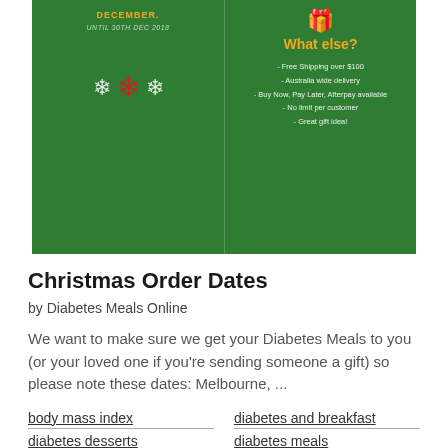[Figure (photo): Green Christmas promotional banner split into two panels. Left panel has 'DECEMBER.' in orange bold text, 'UNTIL 30TH DEC 2018' in small italic white text, and three snowflake icons (two white, one red). Right panel has a gift icon in orange, 'What else?' heading in orange/yellow, and a bullet list: Free Shipping over $100, Australia wide delivery, Buy Now, Pay Later, Afterpay available, No limit per customer, Great gift idea!]
Christmas Order Dates
by Diabetes Meals Online
We want to make sure we get your Diabetes Meals to you (or your loved one if you're sending someone a gift) so please note these dates: Melbourne, ...
body mass index
diabetes and breakfast
diabetes desserts
diabetes meals